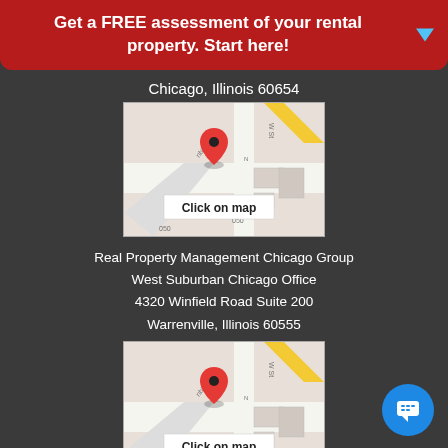Get a FREE assessment of your rental property. Start here!
Chicago, Illinois 60654
[Figure (map): Street map with red location pin and 'Click on map' label]
Real Property Management Chicago Group
West Suburban Chicago Office
4320 Winfield Road Suite 200
Warrenville, Illinois 60555
[Figure (map): Street map with red location pin and 'Click on map' label]